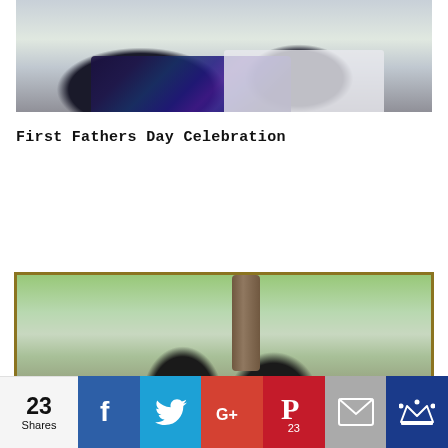[Figure (photo): Top portion of a photo showing two people, one wearing a colorful zebra-pattern dark shirt and another wearing a light/white shirt, cropped at the top of the page]
First Fathers Day Celebration
[Figure (photo): Photo of two children outdoors with trees in the background, framed with a dark gold/brown border]
23 Shares
f
Twitter bird icon
G+
Pinterest P icon 23
Email icon
Crown icon